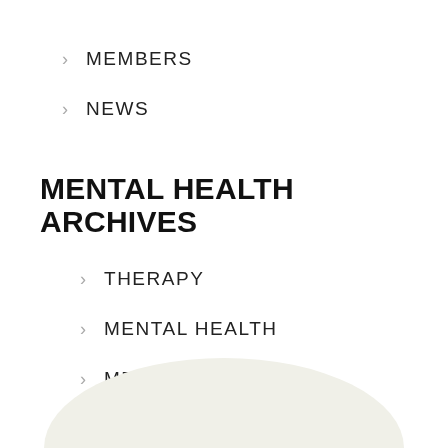> MEMBERS
> NEWS
MENTAL HEALTH ARCHIVES
> THERAPY
> MENTAL HEALTH
> MEDICATION